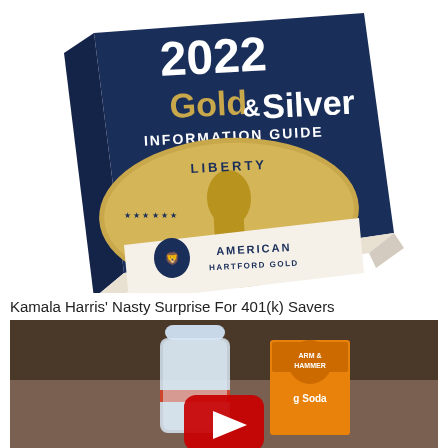[Figure (illustration): 2022 Gold & Silver Information Guide booklet published by American Hartford Gold, shown at an angle with a gold Liberty coin on the cover and a navy blue background.]
Kamala Harris' Nasty Surprise For 401(k) Savers
[Figure (screenshot): Video thumbnail showing a water bottle and a box of Arm & Hammer Baking Soda on a countertop, with a red YouTube play button overlay in the center.]